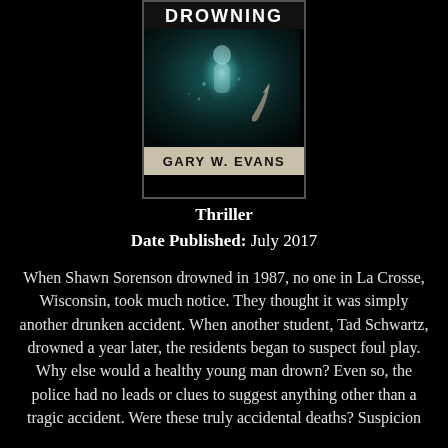[Figure (photo): Book cover for a thriller. Top shows title 'DROWNING' in large white letters on dark background. Middle shows a dark underwater scene with a glowing figure and a hand reaching upward. Bottom shows author name 'GARY W. EVANS' on a tan/beige banner.]
Thriller
Date Published: July 2017
When Shawn Sorenson drowned in 1987, no one in La Crosse, Wisconsin, took much notice. They thought it was simply another drunken accident. When another student, Tad Schwartz, drowned a year later, the residents began to suspect foul play. Why else would a healthy young man drown? Even so, the police had no leads or clues to suggest anything other than a tragic accident. Were these truly accidental deaths? Suspicion